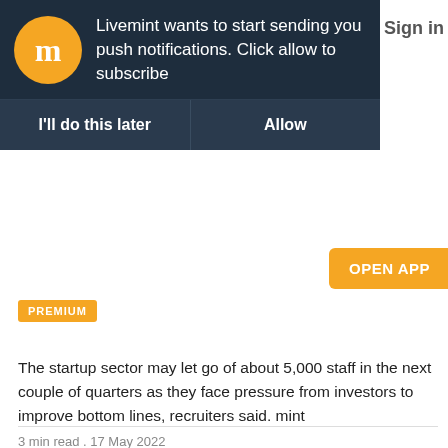[Figure (screenshot): Livemint push notification banner with orange logo circle containing white 'm', dark navy background, notification text, and two buttons: 'I'll do this later' and 'Allow']
er  Sign in
[Figure (other): Orange 'OPEN APP' button partially visible on right edge]
PREMIUM
The startup sector may let go of about 5,000 staff in the next couple of quarters as they face pressure from investors to improve bottom lines, recruiters said. mint
3 min read . 17 May 2022
Devina Sengupta, Ranjani Raghavan